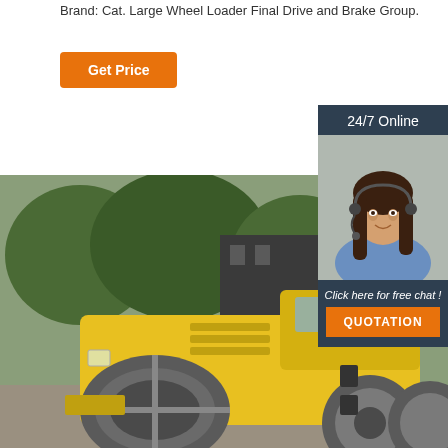Brand: Cat. Large Wheel Loader Final Drive and Brake Group.
[Figure (other): Orange 'Get Price' button]
[Figure (other): Sidebar panel with '24/7 Online' header, customer service representative photo, 'Click here for free chat!' text, and orange QUOTATION button]
[Figure (photo): Yellow road compactor/roller machine parked outdoors with trees and a building in the background]